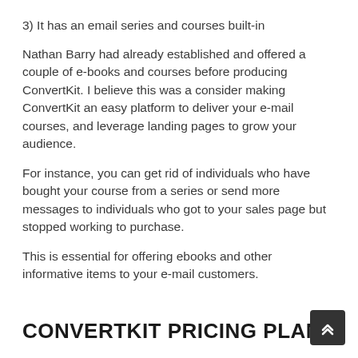3) It has an email series and courses built-in
Nathan Barry had already established and offered a couple of e-books and courses before producing ConvertKit. I believe this was a consider making ConvertKit an easy platform to deliver your e-mail courses, and leverage landing pages to grow your audience.
For instance, you can get rid of individuals who have bought your course from a series or send more messages to individuals who got to your sales page but stopped working to purchase.
This is essential for offering ebooks and other informative items to your e-mail customers.
CONVERTKIT PRICING PLANS